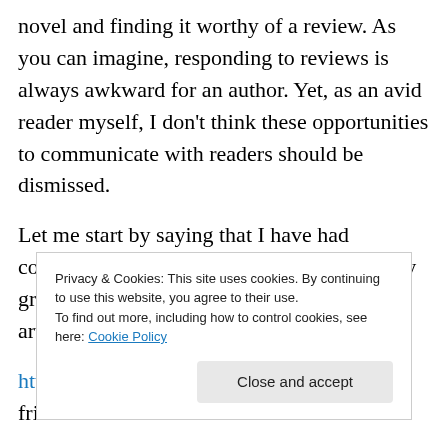novel and finding it worthy of a review. As you can imagine, responding to reviews is always awkward for an author. Yet, as an avid reader myself, I don't think these opportunities to communicate with readers should be dismissed.

Let me start by saying that I have had considerable exposure to polygamy. Both my grandfathers were polygamists. Here's an article I wrote about that experience:

http://bit.ly/8Yg8ZG . I also have several friends
Privacy & Cookies: This site uses cookies. By continuing to use this website, you agree to their use.
To find out more, including how to control cookies, see here: Cookie Policy